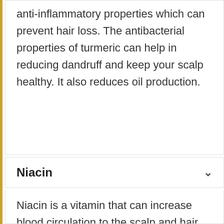anti-inflammatory properties which can prevent hair loss. The antibacterial properties of turmeric can help in reducing dandruff and keep your scalp healthy. It also reduces oil production.
Niacin
Niacin is a vitamin that can increase blood circulation to the scalp and hair follicles. One of the main reasons behind hair loss in